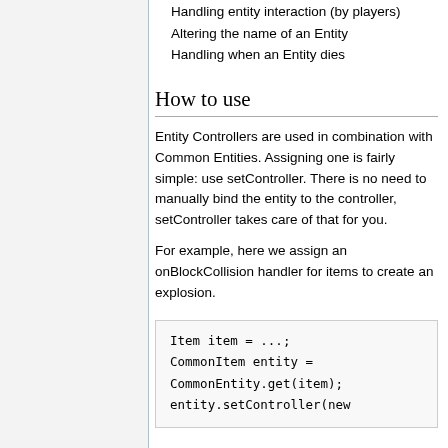Handling entity interaction (by players)
Altering the name of an Entity
Handling when an Entity dies
How to use
Entity Controllers are used in combination with Common Entities. Assigning one is fairly simple: use setController. There is no need to manually bind the entity to the controller, setController takes care of that for you.
For example, here we assign an onBlockCollision handler for items to create an explosion.
Item item = ...;
CommonItem entity = CommonEntity.get(item);
entity.setController(new